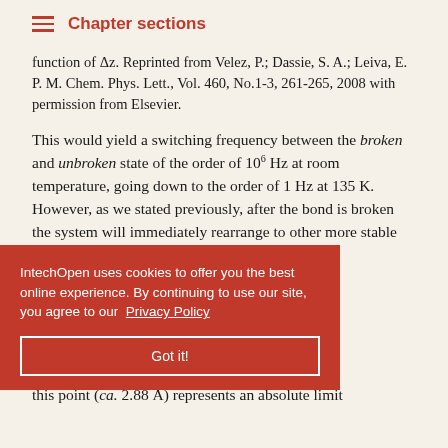Chapter sections
function of Δz. Reprinted from Velez, P.; Dassie, S. A.; Leiva, E. P. M. Chem. Phys. Lett., Vol. 460, No.1-3, 261-265, 2008 with permission from Elsevier.
This would yield a switching frequency between the broken and unbroken state of the order of 10^6 Hz at room temperature, going down to the order of 1 Hz at 135 K. However, as we stated previously, after the bond is broken the system will immediately rearrange to other more stable configuration so that [as] [conditions.] [unbroken and] [z u-# = 0.1995] [oture process] [ge distance at this point (ca. 2.88 Å) represents an absolute limit
IntechOpen uses cookies to offer you the best online experience. By continuing to use our site, you agree to our Privacy Policy
Got it!